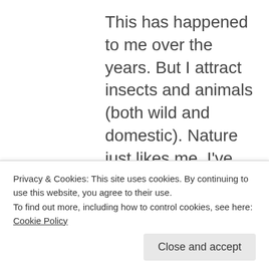This has happened to me over the years. But I attract insects and animals (both wild and domestic). Nature just likes me. I've had dragonflies, bees, moths, butterflies, beetles, cockroaches, Jerusalem crickets, and many more land on me and stay for up to half an hour. I've also had a bobcat, raccoons, squirrels, cows, goats, rabbits, birds (hummingbirds, ducks, robins,
Privacy & Cookies: This site uses cookies. By continuing to use this website, you agree to their use.
To find out more, including how to control cookies, see here: Cookie Policy
Close and accept
came and sat very near me. Cats and